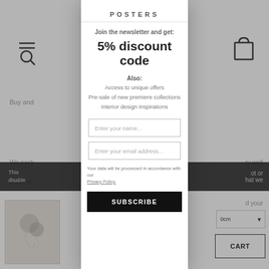[Figure (screenshot): Website popup modal for newsletter signup on a posters e-commerce site. The modal contains the brand name 'POSTERS', a headline 'Join the newsletter and get:', a large discount offer '5% discount code', additional benefits listed under 'Also:' (Access to unique offers, Pre-sale of new premiere collections, Interior design inspirations), two input fields for name and email, a privacy policy note, and a black SUBSCRIBE button. The background shows partially visible page content with navigation icons, text snippets, a product thumbnail, and a cart button.]